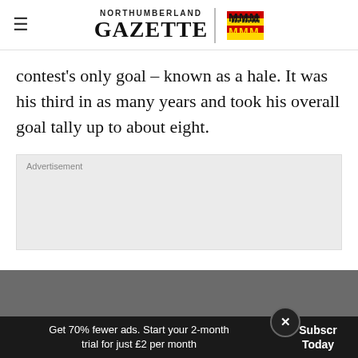NORTHUMBERLAND GAZETTE
contest's only goal – known as a hale. It was his third in as many years and took his overall goal tally up to about eight.
[Figure (other): Advertisement placeholder box with light grey background]
Get 70% fewer ads. Start your 2-month trial for just £2 per month
Subscribe Today